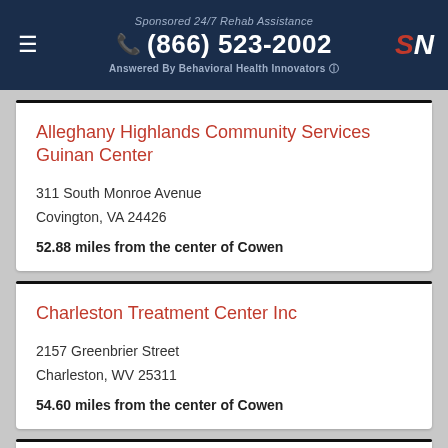Sponsored 24/7 Rehab Assistance (866) 523-2002 Answered By Behavioral Health Innovators
Alleghany Highlands Community Services Guinan Center
311 South Monroe Avenue
Covington, VA 24426
52.88 miles from the center of Cowen
Charleston Treatment Center Inc
2157 Greenbrier Street
Charleston, WV 25311
54.60 miles from the center of Cowen